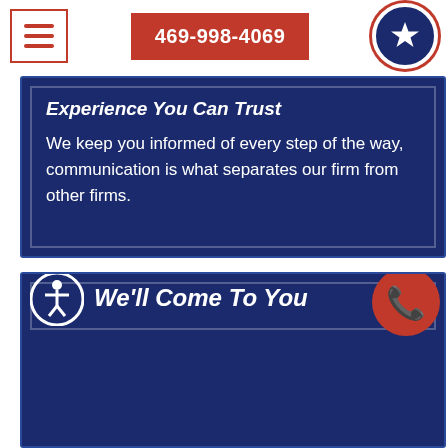469-998-4069
Experience You Can Trust
We keep you informed of every step of the way, communication is what separates our firm from other firms.
We'll Come To You